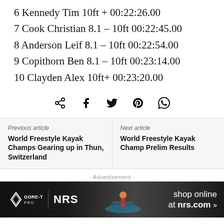6 Kennedy Tim 10ft + 00:22:26.00
7 Cook Christian 8.1 – 10ft 00:22:45.00
8 Anderson Leif 8.1 – 10ft 00:22:54.00
9 Copithorn Ben 8.1 – 10ft 00:23:14.00
10 Clayden Alex 10ft+ 00:23:20.00
[Figure (infographic): Social share icons: share, facebook, twitter, pinterest, whatsapp]
Previous article
World Freestyle Kayak Champs Gearing up in Thun, Switzerland
Next article
World Freestyle Kayak Champ Prelim Results
- Advertisement -
[Figure (infographic): Advertisement banner for GORE-TEX PRO and NRS featuring a kayaker. Text: shop online at nrs.com]